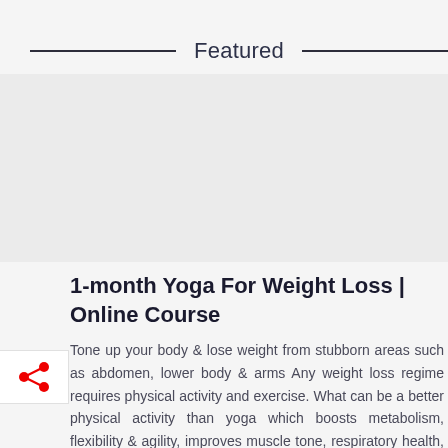Featured
[Figure (photo): Large featured image placeholder for yoga course]
1-month Yoga For Weight Loss | Online Course
Tone up your body & lose weight from stubborn areas such as abdomen, lower body & arms Any weight loss regime requires physical activity and exercise. What can be a better physical activity than yoga which boosts metabolism, flexibility & agility, improves muscle tone, respiratory health, and heart health - w